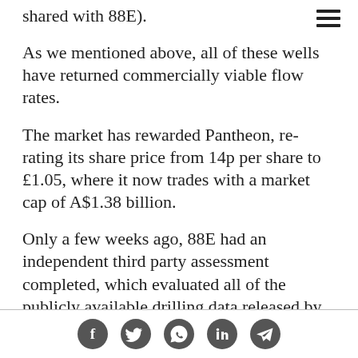shared with 88E).
As we mentioned above, all of these wells have returned commercially viable flow rates.
The market has rewarded Pantheon, re-rating its share price from 14p per share to £1.05, where it now trades with a market cap of A$1.38 billion.
Only a few weeks ago, 88E had an independent third party assessment completed, which evaluated all of the publicly available drilling data released by Pantheon Resources and 88E.
[Figure (other): Social media share icons: Facebook, Twitter, WhatsApp, LinkedIn, Telegram]